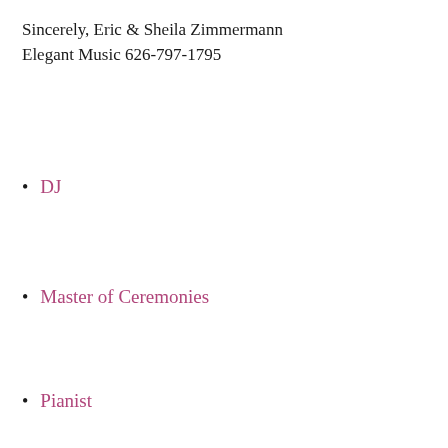Sincerely, Eric & Sheila Zimmermann
Elegant Music 626-797-1795
DJ
Master of Ceremonies
Pianist